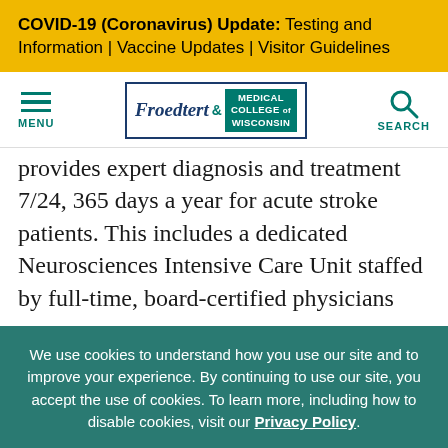COVID-19 (Coronavirus) Update: Testing and Information | Vaccine Updates | Visitor Guidelines
[Figure (logo): Froedtert & Medical College of Wisconsin logo with hamburger menu and search icon in navigation bar]
provides expert diagnosis and treatment 7/24, 365 days a year for acute stroke patients. This includes a dedicated Neurosciences Intensive Care Unit staffed by full-time, board-certified physicians
We use cookies to understand how you use our site and to improve your experience. By continuing to use our site, you accept the use of cookies. To learn more, including how to disable cookies, visit our Privacy Policy.
Close